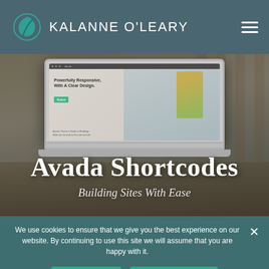Kalanne O'Leary
[Figure (screenshot): Laptop showing Avada theme website with text 'Powerfully Responsive. With A Clear Design.' and a green button. Overlaid with large text 'Avada Shortcodes' and subtitle 'Building Sites With Ease'.]
Avada Shortcodes
Building Sites With Ease
We use cookies to ensure that we give you the best experience on our website. By continuing to use this site we will assume that you are happy with it.
Accept
Cookie Policy